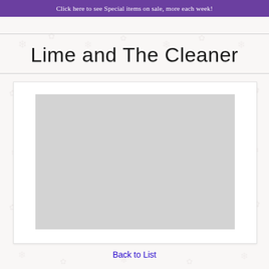Click here to see Special items on sale, more each week!
Lime and The Cleaner
[Figure (photo): Light grey rectangular placeholder image for product photo]
Back to List